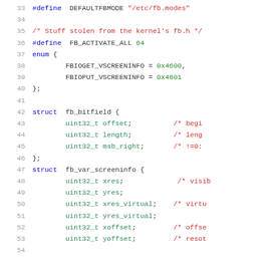[Figure (screenshot): Source code listing in C showing lines 33-54 with syntax highlighting. Includes preprocessor defines, enum, and struct definitions for framebuffer types.]